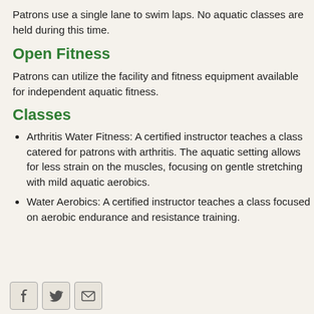Patrons use a single lane to swim laps. No aquatic classes are held during this time.
Open Fitness
Patrons can utilize the facility and fitness equipment available for independent aquatic fitness.
Classes
Arthritis Water Fitness: A certified instructor teaches a class catered for patrons with arthritis. The aquatic setting allows for less strain on the muscles, focusing on gentle stretching with mild aquatic aerobics.
Water Aerobics: A certified instructor teaches a class focused on aerobic endurance and resistance training.